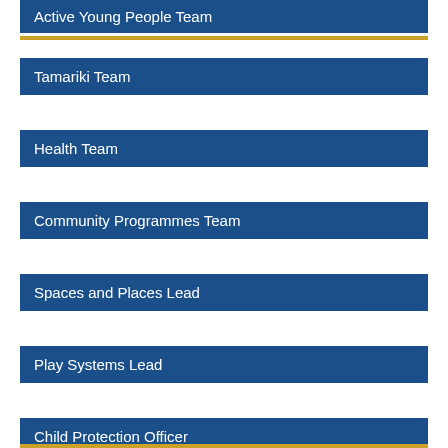Active Young People Team
Tamariki Team
Health Team
Community Programmes Team
Spaces and Places Lead
Play Systems Lead
Child Protection Officer